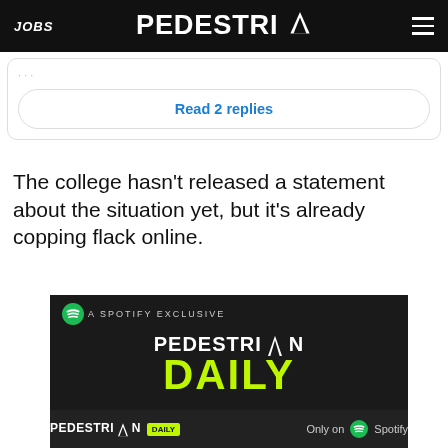JOBS  PEDESTRIAN  ☰
Read 2 replies
The college hasn't released a statement about the situation yet, but it's already copping flack online.
[Figure (screenshot): Pedestrian Daily - A Spotify Exclusive promotional banner with Pedestrian Daily logo and 'Only on Spotify' footer bar]